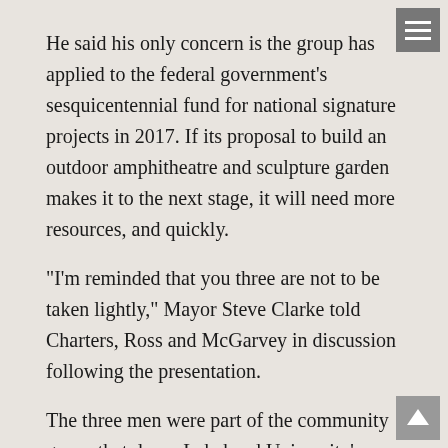He said his only concern is the group has applied to the federal government's sesquicentennial fund for national signature projects in 2017. If its proposal to build an outdoor amphitheatre and sculpture garden makes it to the next stage, it will need more resources, and quickly.
"I'm reminded that you three are not to be taken lightly," Mayor Steve Clarke told Charters, Ross and McGarvey in discussion following the presentation.
The three men were part of the community group that drove Lakehead University's expansion to Orillia.
Coun. Pat Hehn said she had attended some of the steering committee's meetings.
"I can see such wonderful things happening," she said.
Charters said the province, which owns the property, and the Orillia Area Community Development Corporation